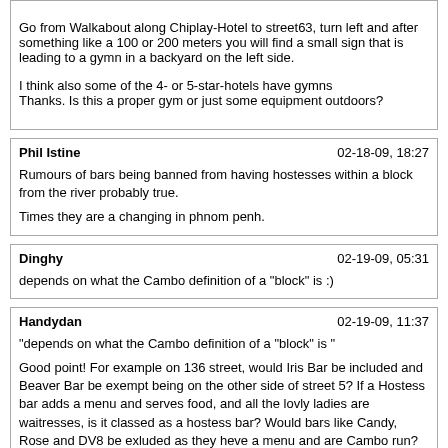Go from Walkabout along Chiplay-Hotel to street63, turn left and after something like a 100 or 200 meters you will find a small sign that is leading to a gymn in a backyard on the left side.

I think also some of the 4- or 5-star-hotels have gymns
Thanks. Is this a proper gym or just some equipment outdoors?
Phil Istine	02-18-09, 18:27
Rumours of bars being banned from having hostesses within a block from the river probably true.

Times they are a changing in phnom penh.
Dinghy	02-19-09, 05:31
depends on what the Cambo definition of a "block" is :)
Handydan	02-19-09, 11:37
"depends on what the Cambo definition of a "block" is "

Good point! For example on 136 street, would Iris Bar be included and Beaver Bar be exempt being on the other side of street 5? If a Hostess bar adds a menu and serves food, and all the lovly ladies are waitresses, is it classed as a hostess bar? Would bars like Candy, Rose and DV8 be exluded as they heve a menu and are Cambo run?
GregLondon	02-20-09, 03:15
Just thought I would put in a word for the Asia Hotel (Hotel Asie) on Monivong Bvd as a good place to stay in PP.

Many mongers stay at the Flamingo Hotel ($25/35) which is a solid option